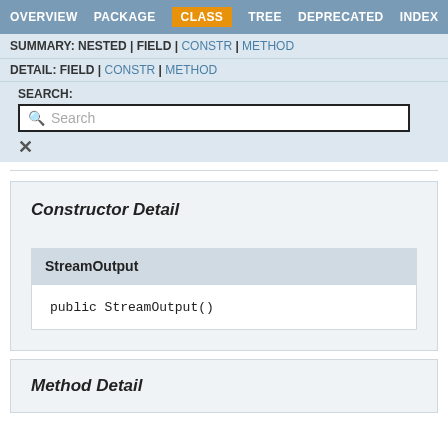OVERVIEW  PACKAGE  CLASS  TREE  DEPRECATED  INDEX
SUMMARY: NESTED | FIELD | CONSTR | METHOD
DETAIL: FIELD | CONSTR | METHOD
SEARCH: Search
Constructor Detail
StreamOutput
public StreamOutput()
Method Detail